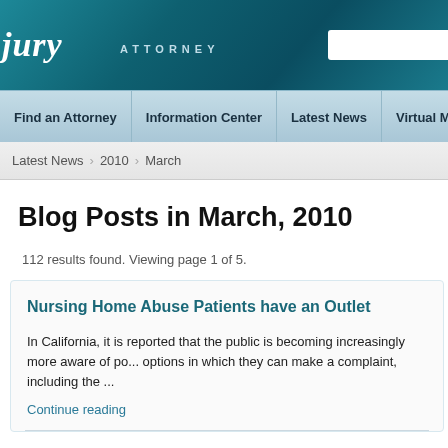jury ATTORNEY
Find an Attorney | Information Center | Latest News | Virtual Map | A...
Latest News > 2010 > March
Blog Posts in March, 2010
112 results found. Viewing page 1 of 5.
Nursing Home Abuse Patients have an Outlet
In California, it is reported that the public is becoming increasingly more aware of po... options in which they can make a complaint, including the ...
Continue reading